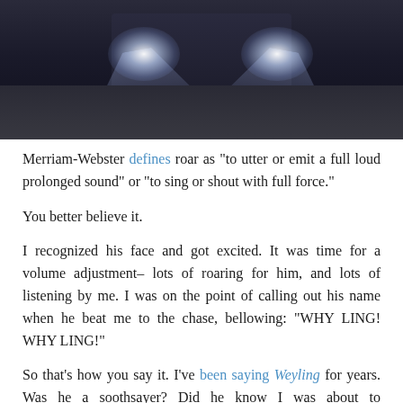[Figure (photo): Nighttime photo of a bus or vehicle with bright headlights shining toward the camera, illuminating a dark road surface.]
Merriam-Webster defines roar as "to utter or emit a full loud prolonged sound" or "to sing or shout with full force."
You better believe it.
I recognized his face and got excited. It was time for a volume adjustment– lots of roaring for him, and lots of listening by me. I was on the point of calling out his name when he beat me to the chase, bellowing: "WHY LING! WHY LING!"
So that's how you say it. I've been saying Weyling for years. Was he a soothsayer? Did he know I was about to mispronounce his name for the umpteenth time? Without another word– or roar, I should perhaps say– he marched to the center of the bus. The nighttime silence began to envelope us again, slowly, returning us to the norm of what 11 P.M. is supposed to sound like. Dead of night. The whirr of the electric